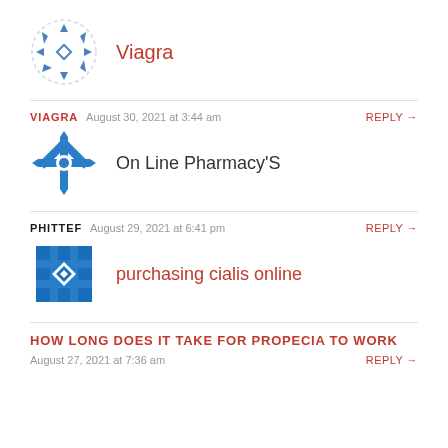[Figure (logo): Blue circular avatar with diamond/star pattern made of arrow shapes]
Viagra
VIAGRA   August 30, 2021 at 3:44 am   REPLY →
[Figure (logo): Blue starburst/snowflake avatar icon]
On Line Pharmacy'S
PHITTEF   August 29, 2021 at 6:41 pm   REPLY →
[Figure (logo): Blue grid/diamond pattern avatar icon]
purchasing cialis online
HOW LONG DOES IT TAKE FOR PROPECIA TO WORK
August 27, 2021 at 7:36 am   REPLY →